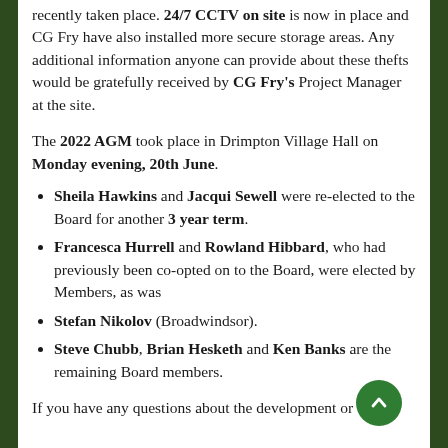recently taken place. 24/7 CCTV on site is now in place and CG Fry have also installed more secure storage areas. Any additional information anyone can provide about these thefts would be gratefully received by CG Fry's Project Manager at the site.
The 2022 AGM took place in Drimpton Village Hall on Monday evening, 20th June.
Sheila Hawkins and Jacqui Sewell were re-elected to the Board for another 3 year term.
Francesca Hurrell and Rowland Hibbard, who had previously been co-opted on to the Board, were elected by Members, as was
Stefan Nikolov (Broadwindsor).
Steve Chubb, Brian Hesketh and Ken Banks are the remaining Board members.
If you have any questions about the development or